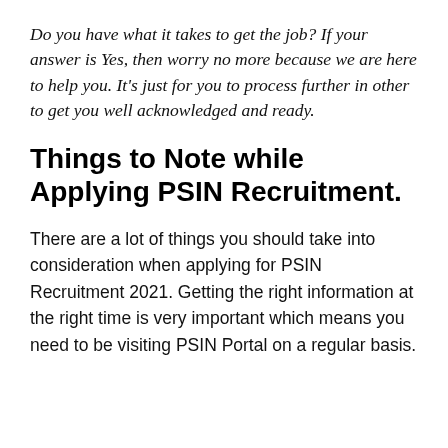Do you have what it takes to get the job? If your answer is Yes, then worry no more because we are here to help you. It's just for you to process further in other to get you well acknowledged and ready.
Things to Note while Applying PSIN Recruitment.
There are a lot of things you should take into consideration when applying for PSIN Recruitment 2021. Getting the right information at the right time is very important which means you need to be visiting PSIN Portal on a regular basis.